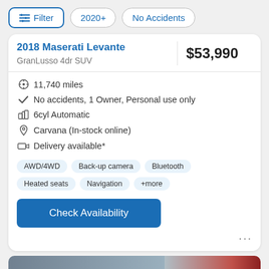Filter  2020+  No Accidents
2018 Maserati Levante
GranLusso 4dr SUV
$53,990
11,740 miles
No accidents, 1 Owner, Personal use only
6cyl Automatic
Carvana (In-stock online)
Delivery available*
AWD/4WD  Back-up camera  Bluetooth  Heated seats  Navigation  +more
Check Availability
[Figure (photo): Bottom strip showing partial image of a certified luxury car listing]